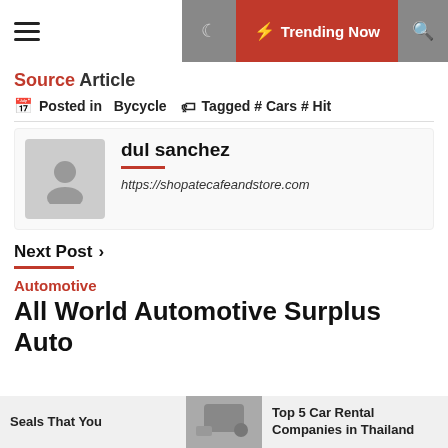Trending Now
Source Article
Posted in  Bycycle   Tagged # Cars # Hit
dul sanchez
https://shopatecafeandstore.com
Next Post ›
Automotive
All World Automotive Surplus Auto
Seals That You | Top 5 Car Rental Companies in Thailand